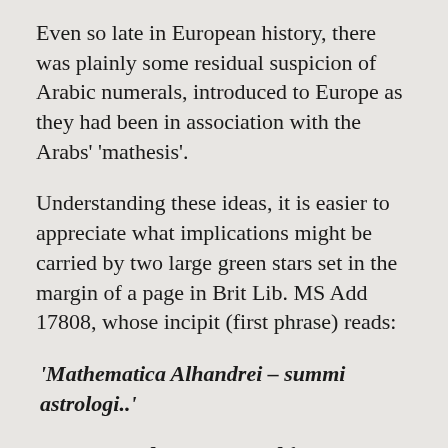Even so late in European history, there was plainly some residual suspicion of Arabic numerals, introduced to Europe as they had been in association with the Arabs' 'mathesis'.
Understanding these ideas, it is easier to appreciate what implications might be carried by two large green stars set in the margin of a page in Brit Lib. MS Add 17808, whose incipit (first phrase) reads:
'Mathematica Alhandrei – summi astrologi..'
Mathesis and astrology and from a foreign author and he not Christian.